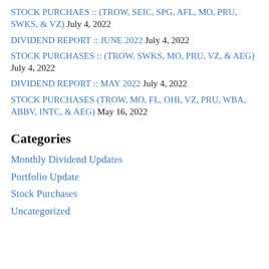STOCK PURCHAES :: (TROW, SEIC, SPG, AFL, MO, PRU, SWKS, & VZ) July 4, 2022
DIVIDEND REPORT :: JUNE 2022 July 4, 2022
STOCK PURCHASES :: (TROW, SWKS, MO, PRU, VZ, & AEG) July 4, 2022
DIVIDEND REPORT :: MAY 2022 July 4, 2022
STOCK PURCHASES (TROW, MO, FL, OHI, VZ, PRU, WBA, ABBV, INTC, & AEG) May 16, 2022
Categories
Monthly Dividend Updates
Portfolio Update
Stock Purchases
Uncategorized